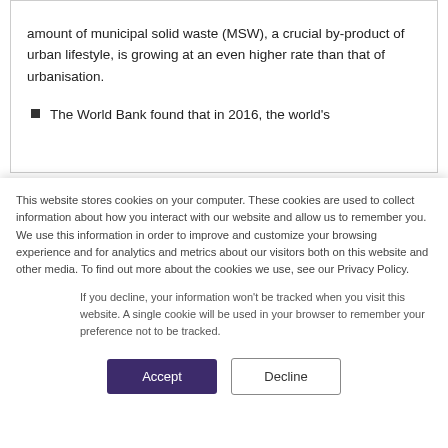amount of municipal solid waste (MSW), a crucial by-product of urban lifestyle, is growing at an even higher rate than that of urbanisation.
The World Bank found that in 2016, the world's
This website stores cookies on your computer. These cookies are used to collect information about how you interact with our website and allow us to remember you. We use this information in order to improve and customize your browsing experience and for analytics and metrics about our visitors both on this website and other media. To find out more about the cookies we use, see our Privacy Policy.
If you decline, your information won't be tracked when you visit this website. A single cookie will be used in your browser to remember your preference not to be tracked.
Accept
Decline